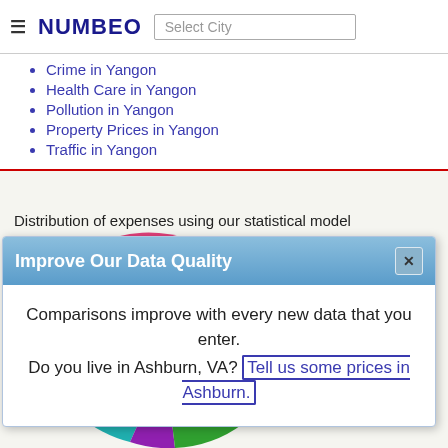NUMBEO | Select City
Crime in Yangon
Health Care in Yangon
Pollution in Yangon
Property Prices in Yangon
Traffic in Yangon
Distribution of expenses using our statistical model
[Figure (pie-chart): Pie chart partially visible, showing Transportation (blue), Clothing And Shoes (red/orange), pink slice, teal slice, purple slice, green slice]
Improve Our Data Quality
Comparisons improve with every new data that you enter.
Do you live in Ashburn, VA? Tell us some prices in Ashburn.